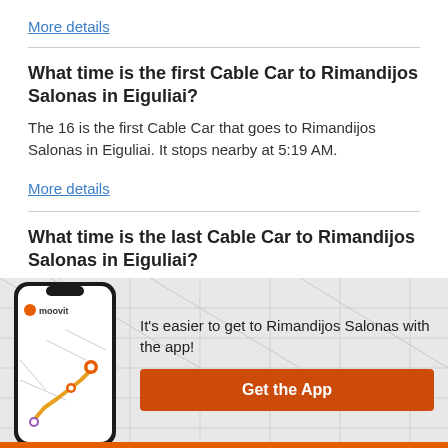More details
What time is the first Cable Car to Rimandijos Salonas in Eiguliai?
The 16 is the first Cable Car that goes to Rimandijos Salonas in Eiguliai. It stops nearby at 5:19 AM.
More details
What time is the last Cable Car to Rimandijos Salonas in Eiguliai?
The 14 is the last Cable Car that goes to Rimandijos Salonas in Eiguliai. It stops nearby at 11:25 PM.
[Figure (infographic): Moovit app promotion banner with phone illustration showing a map route, text saying it's easier to get to Rimandijos Salonas with the app, and a Get the App button.]